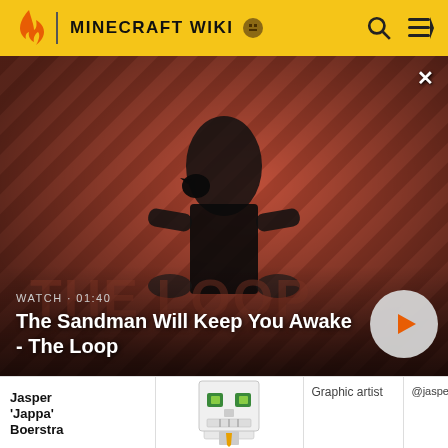MINECRAFT WIKI
[Figure (screenshot): Video thumbnail showing a figure in dark clothing with a raven on their shoulder, against a red diagonal striped background. Text overlay: WATCH · 01:40 / The Sandman Will Keep You Awake - The Loop. Play button on right.]
| Name | Image | Role | Social |
| --- | --- | --- | --- |
| Jasper 'Jappa' Boerstra | [skeleton toy image] | Graphic artist | @jasperboers |